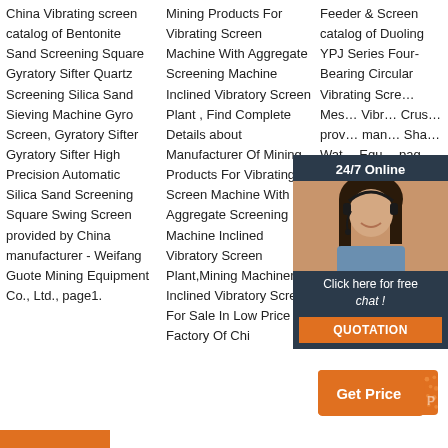China Vibrating screen catalog of Bentonite Sand Screening Square Gyratory Sifter Quartz Screening Silica Sand Sieving Machine Gyro Screen, Gyratory Sifter Gyratory Sifter High Precision Automatic Silica Sand Screening Square Swing Screen provided by China manufacturer - Weifang Guote Mining Equipment Co., Ltd., page1.
Mining Products For Vibrating Screen Machine With Aggregate Screening Machine Inclined Vibratory Screen Plant , Find Complete Details about Manufacturer Of Mining Products For Vibrating Screen Machine With Aggregate Screening Machine Inclined Vibratory Screen Plant,Mining Machinery Inclined Vibratory Screen For Sale In Low Price Factory Of Chi
Feeder & Screen catalog of Duoling YPJ Series Four-Bearing Circular Vibrating Screen...Mesh Vibrating Crusher provided by many Sha Wat Equipment page
[Figure (photo): 24/7 Online chat widget with a woman wearing a headset, orange QUOTATION button, and 'Click here for free chat!' text on dark navy background]
[Figure (other): Orange 'Get Price' button with decorative dot pattern]